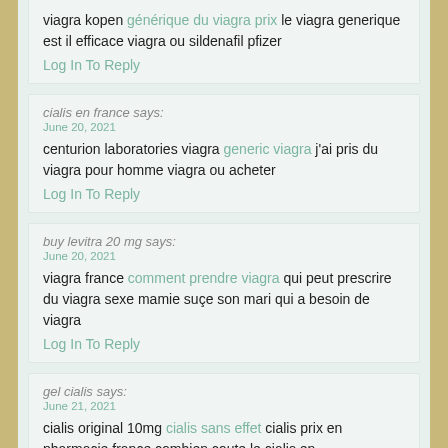viagra kopen générique du viagra prix le viagra generique est il efficace viagra ou sildenafil pfizer
Log In To Reply
cialis en france says:
June 20, 2021
centurion laboratories viagra generic viagra j'ai pris du viagra pour homme viagra ou acheter
Log In To Reply
buy levitra 20 mg says:
June 20, 2021
viagra france comment prendre viagra qui peut prescrire du viagra sexe mamie suçe son mari qui a besoin de viagra
Log In To Reply
gel cialis says:
June 21, 2021
cialis original 10mg cialis sans effet cialis prix en pharmacie france combien coute le cialis en